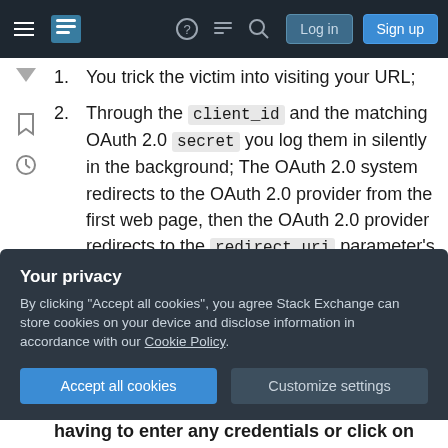Stack Exchange navigation bar with Log in and Sign up buttons
1. You trick the victim into visiting your URL;
2. Through the client_id and the matching OAuth 2.0 secret you log them in silently in the background; The OAuth 2.0 system redirects to the OAuth 2.0 provider from the first web page, then the OAuth 2.0 provider redirects to the redirect_uri parameter's value (which usually redirects back to the website which initiated the log in). The process sets a session cookie that is used both for
Your privacy
By clicking "Accept all cookies", you agree Stack Exchange can store cookies on your device and disclose information in accordance with our Cookie Policy.
having to enter any credentials or click on